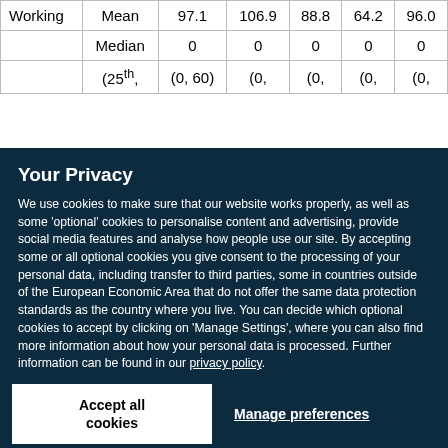|  |  | Col1 | Col2 | Col3 | Col4 | Col5 |
| --- | --- | --- | --- | --- | --- | --- |
| Working | Mean | 97.1 | 106.9 | 88.8 | 64.2 | 96.0 |
|  | Median | 0 | 0 | 0 | 0 | 0 |
|  | (25th, | (0, 60) | (0, | (0, | (0, | (0, |
Your Privacy
We use cookies to make sure that our website works properly, as well as some ‘optional’ cookies to personalise content and advertising, provide social media features and analyse how people use our site. By accepting some or all optional cookies you give consent to the processing of your personal data, including transfer to third parties, some in countries outside of the European Economic Area that do not offer the same data protection standards as the country where you live. You can decide which optional cookies to accept by clicking on ‘Manage Settings’, where you can also find more information about how your personal data is processed. Further information can be found in our privacy policy.